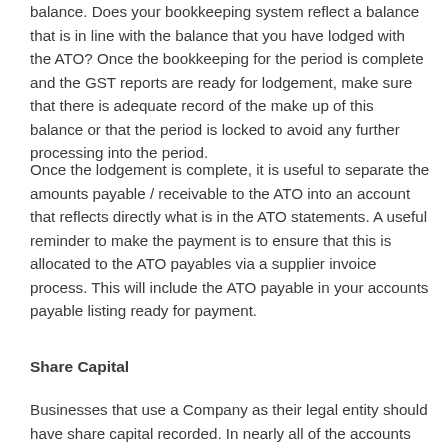balance.  Does your bookkeeping system reflect a balance that is in line with the balance that you have lodged with the ATO?  Once the bookkeeping for the period is complete and the GST reports are ready for lodgement, make sure that there is adequate record of the make up of this balance or that the period is locked to avoid any further processing into the period.
Once the lodgement is complete, it is useful to separate the amounts payable / receivable to the ATO into an account that reflects directly what is in the ATO statements.  A useful reminder to make the payment is to ensure that this is allocated to the ATO payables via a supplier invoice process.  This will include the ATO payable in your accounts payable listing ready for payment.
Share Capital
Businesses that use a Company as their legal entity should have share capital recorded.  In nearly all of the accounts